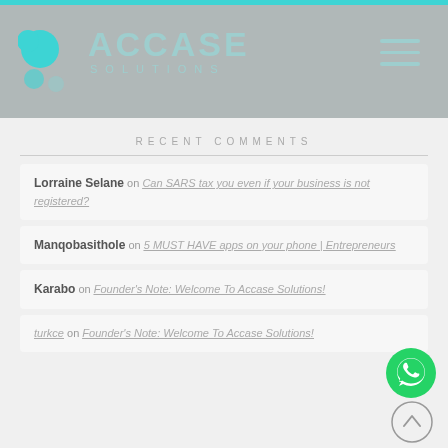ACCASE SOLUTIONS
RECENT COMMENTS
Lorraine Selane on Can SARS tax you even if your business is not registered?
Manqobasithole on 5 MUST HAVE apps on your phone | Entrepreneurs
Karabo on Founder's Note: Welcome To Accase Solutions!
turkce on Founder's Note: Welcome To Accase Solutions!
[Figure (logo): WhatsApp contact button (green circle with phone icon)]
[Figure (other): Scroll to top button (circle with upward arrow)]